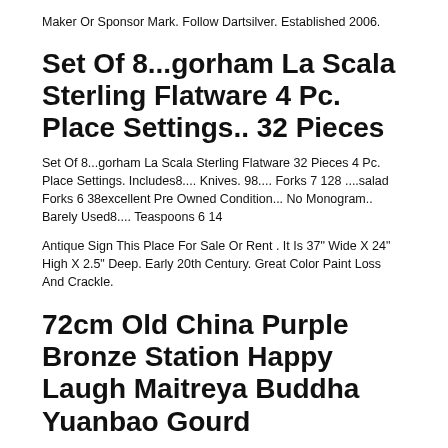Maker Or Sponsor Mark. Follow Dartsilver. Established 2006.
Set Of 8...gorham La Scala Sterling Flatware 4 Pc. Place Settings.. 32 Pieces
Set Of 8...gorham La Scala Sterling Flatware 32 Pieces 4 Pc. Place Settings. Includes8.... Knives. 98.... Forks 7 128 ....salad Forks 6 38excellent Pre Owned Condition... No Monogram.. Barely Used8.... Teaspoons 6 14
Antique Sign This Place For Sale Or Rent . It Is 37" Wide X 24" High X 2.5" Deep. Early 20th Century. Great Color Paint Loss And Crackle.
72cm Old China Purple Bronze Station Happy Laugh Maitreya Buddha Yuanbao Gourd
My Collection Includes The China's 56 Nationalities. Material Bronze Gilt. No Exceptions.
Antique Philadelphia Train Station Sign